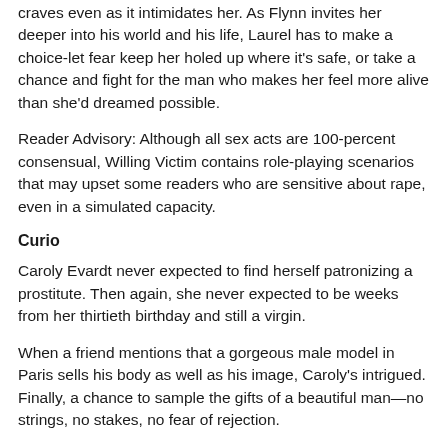craves even as it intimidates her. As Flynn invites her deeper into his world and his life, Laurel has to make a choice-let fear keep her holed up where it's safe, or take a chance and fight for the man who makes her feel more alive than she'd dreamed possible.
Reader Advisory: Although all sex acts are 100-percent consensual, Willing Victim contains role-playing scenarios that may upset some readers who are sensitive about rape, even in a simulated capacity.
Curio
Caroly Evardt never expected to find herself patronizing a prostitute. Then again, she never expected to be weeks from her thirtieth birthday and still a virgin.
When a friend mentions that a gorgeous male model in Paris sells his body as well as his image, Caroly's intrigued. Finally, a chance to sample the gifts of a beautiful man—no strings, no stakes, no fear of rejection.
But she soon discovers that Didier Pedra amounts to more than a striking face and a talented body. He's a kind